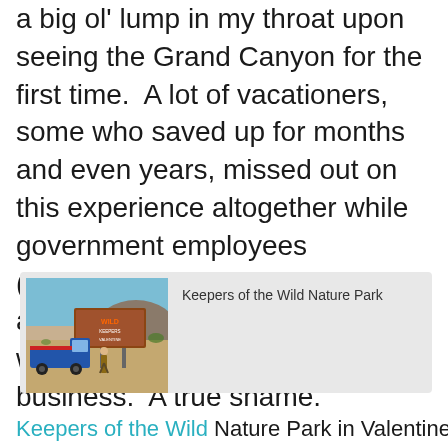a big ol' lump in my throat upon seeing the Grand Canyon for the first time.  A lot of vacationers, some who saved up for months and even years, missed out on this experience altogether while government employees (especially those that rely on tips) and indie shops and restaurants were hit hard by the lack of business.  A true shame.
[Figure (photo): Photo showing a blue truck parked in front of a 'Keepers of the Wild' sign, with a person standing nearby, desert landscape and hills in background. The photo is inside a gray-background card with the caption 'Keepers of the Wild Nature Park' to the right.]
Keepers of the Wild Nature Park in Valentine,